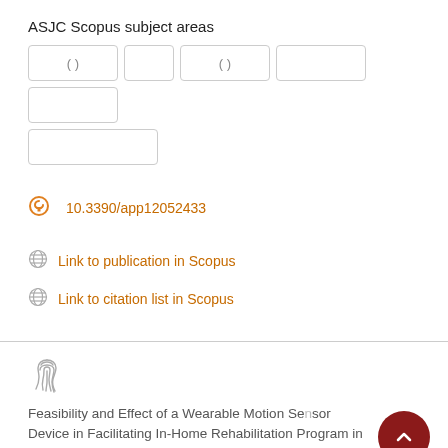ASJC Scopus subject areas
[Figure (other): Row of blank subject area badge placeholders with parentheses]
10.3390/app12052433
Link to publication in Scopus
Link to citation list in Scopus
Feasibility and Effect of a Wearable Motion Sensor Device in Facilitating In-Home Rehabilitation Program in